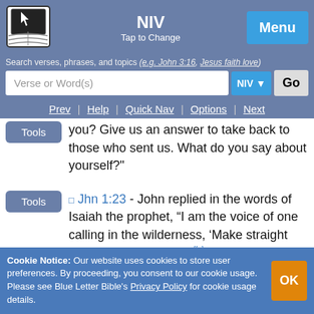NIV | Tap to Change | Menu
Search verses, phrases, and topics (e.g. John 3:16, Jesus faith love)
Verse or Word(s) | NIV | Go
Prev | Help | Quick Nav | Options | Next
you? Give us an answer to take back to those who sent us. What do you say about yourself?"
Jhn 1:23 - John replied in the words of Isaiah the prophet, “I am the voice of one calling in the wilderness, ‘Make straight the way for the Lord.’ ”[fn]
Cookie Notice: Our website uses cookies to store user preferences. By proceeding, you consent to our cookie usage. Please see Blue Letter Bible's Privacy Policy for cookie usage details.